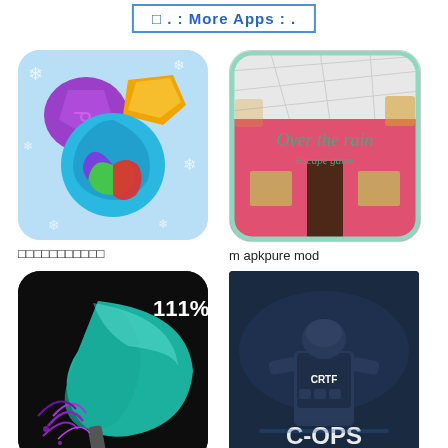□ . : More Apps : .
[Figure (illustration): Jewel puzzle game app icon with colorful gems on a blue snowflake background]
□□□□□□□□□□□
[Figure (illustration): Over the rain escape game app icon showing a pink building with text 'Over the rain Escape game']
m apkpure mod
[Figure (illustration): TrueFish Lite app icon showing a dark background with a teal scythe blade and 111% text]
TrueFish Lite
[Figure (illustration): GTA 5 / Critical Ops game icon showing a soldier with CRTF vest and C-OPS text]
gta 5 game pc download apk